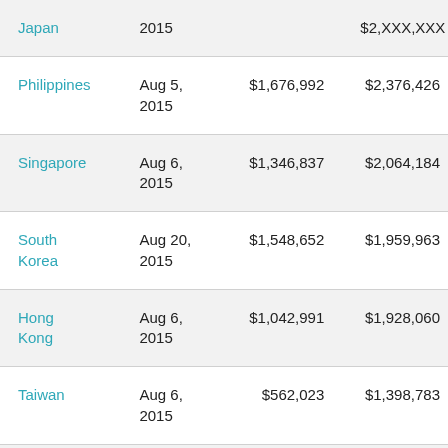| Country | Date | Value 1 | Value 2 |
| --- | --- | --- | --- |
| Japan | 2015 |  | $2,XXX,XXX |
| Philippines | Aug 5, 2015 | $1,676,992 | $2,376,426 |
| Singapore | Aug 6, 2015 | $1,346,837 | $2,064,184 |
| South Korea | Aug 20, 2015 | $1,548,652 | $1,959,963 |
| Hong Kong | Aug 6, 2015 | $1,042,991 | $1,928,060 |
| Taiwan | Aug 6, 2015 | $562,023 | $1,398,783 |
| India | Aug 21, 2015 | $918,990 | $1,318,908 |